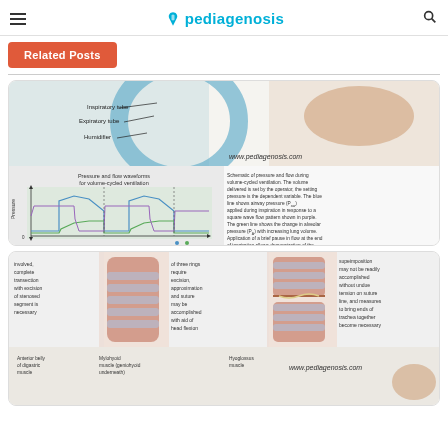pediagenosis
Related Posts
[Figure (illustration): Medical illustration card showing mechanical ventilation diagrams: expiratory tube, humidifier labels on ventilator equipment, pressure and flow waveforms for volume-cycled ventilation with colored lines (blue for airway pressure, green for alveolar pressure, purple for flow), labeled 'MECHANICAL VENTILATION' with explanatory text on right side. Website watermark: www.pediagenosis.com]
[Figure (illustration): Medical illustration card showing tracheal surgery/reconstruction diagrams with anatomical labels: involved complete transection with excision of stenosed segment is necessary; three rings require excision approximation and suture may be accomplished with aid of head flexion; supeimposition may not be readily accomplished without undue tension on suture line and measures to bring ends of trachea together become necessary. Bottom labels: Anterior belly of digastric muscle, Mylohyoid muscle (geniohyoid underneath), Hyoglossus muscle. Website watermark: www.pediagenosis.com]